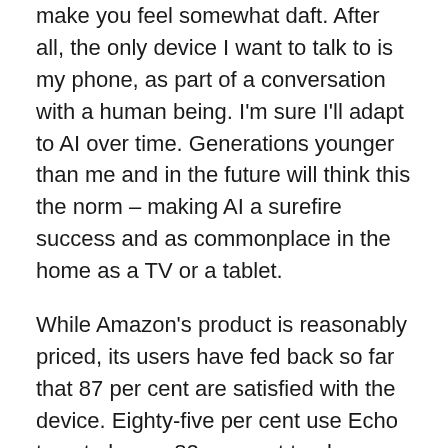make you feel somewhat daft. After all, the only device I want to talk to is my phone, as part of a conversation with a human being. I'm sure I'll adapt to AI over time. Generations younger than me and in the future will think this the norm – making AI a surefire success and as commonplace in the home as a TV or a tablet.
While Amazon's product is reasonably priced, its users have fed back so far that 87 per cent are satisfied with the device. Eighty-five per cent use Echo to set alarms, 82 per cent to play music, and two-thirds ask for news updates. Overall, 39 per cent of Echo users plan to increase their usage as support grows for the platform, which will be intrinsically linked to bolstering Amazon's revenues.
This remains unlikely, however, when you consider what's coming next – Google Home. The future of AI in the home is way more than just a 'smart speaker', as the category is